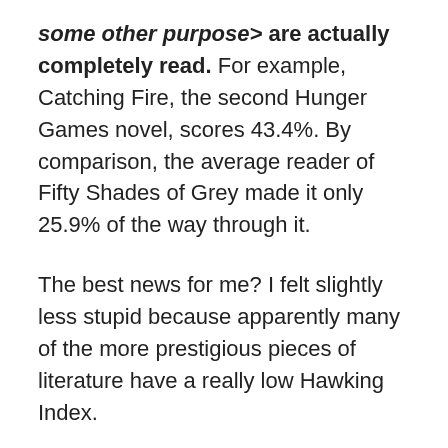<some other purpose> are actually completely read. For example, Catching Fire, the second Hunger Games novel, scores 43.4%. By comparison, the average reader of Fifty Shades of Grey made it only 25.9% of the way through it.
The best news for me? I felt slightly less stupid because apparently many of the more prestigious pieces of literature have a really low Hawking Index.
But, really, feeling stupid about a book actually has nothing to do with whether